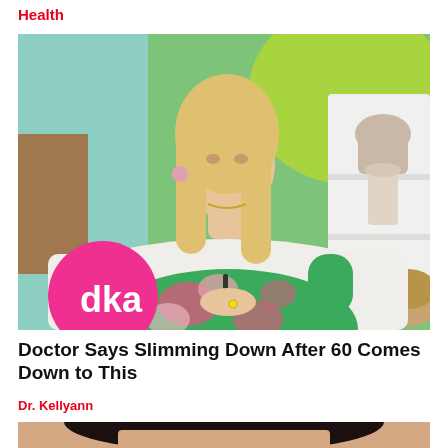Health
[Figure (photo): A blonde woman in a green floral dress seated in a studio set with a bright green background, with a 'dka' pink circle logo in the lower left corner of the image]
Doctor Says Slimming Down After 60 Comes Down to This
Dr. Kellyann
[Figure (photo): Partial photo of a dark-haired woman, cropped at the bottom of the page]